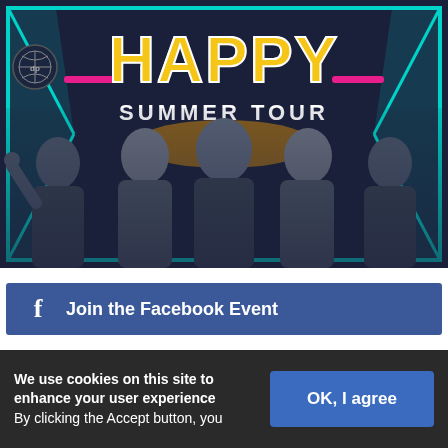[Figure (photo): Promotional image for 'Happy Summer Tour' showing five young men posing enthusiastically. Large yellow 'HAPPY' text with white outlines dominates the top, with 'SUMMER TOUR' below in white. Dark navy background with teal lightning bolt borders and pink accent lines. One man holds a basketball on the left.]
Join the Facebook Event
We use cookies on this site to enhance your user experience
By clicking the Accept button, you